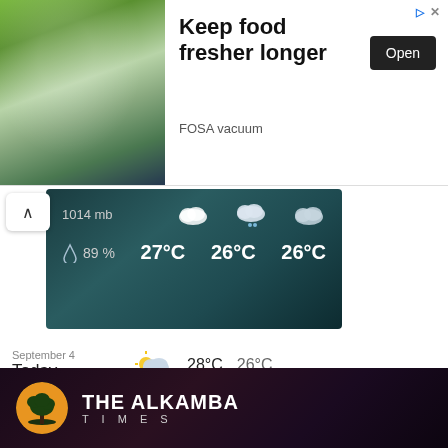[Figure (screenshot): Advertisement banner showing food storage containers with text 'Keep food fresher longer', 'FOSA vacuum', and an Open button]
[Figure (screenshot): Weather widget showing 1014 mb pressure, 89% humidity, temperatures 27°C, 26°C, 26°C with cloud icons]
September 4
Today
28°C 26°C
September 5
Tomorrow
28°C 26°C
September 6
Tuesday
28°C 26°C
[Figure (logo): The Alkamba Times logo with tree silhouette on orange/yellow background]